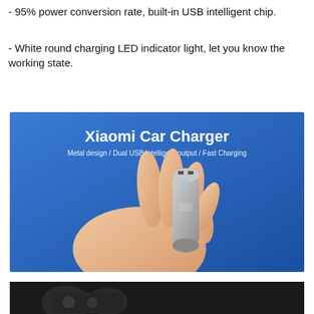- 95% power conversion rate, built-in USB intelligent chip.
- White round charging LED indicator light, let you know the working state.
[Figure (photo): Product marketing image for Xiaomi Car Charger on blue gradient background. A hand holds a small silver cylindrical car charger. Text reads 'Xiaomi Car Charger' in bold white, and 'Metal design / Dual USB intelligent output / Fast Charging' below in smaller white text.]
[Figure (photo): Partial dark/black background image, appears to be another product scene photo, cropped at bottom of page.]